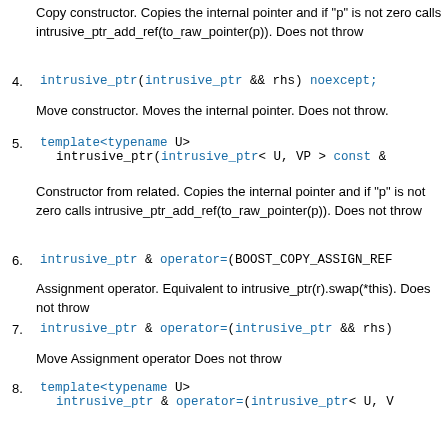Copy constructor. Copies the internal pointer and if "p" is not zero calls intrusive_ptr_add_ref(to_raw_pointer(p)). Does not throw
4. intrusive_ptr(intrusive_ptr && rhs) noexcept;
Move constructor. Moves the internal pointer. Does not throw.
5. template<typename U>
   intrusive_ptr(intrusive_ptr< U, VP > const &
Constructor from related. Copies the internal pointer and if "p" is not zero calls intrusive_ptr_add_ref(to_raw_pointer(p)). Does not throw
6. intrusive_ptr & operator=(BOOST_COPY_ASSIGN_REF
Assignment operator. Equivalent to intrusive_ptr(r).swap(*this). Does not throw
7. intrusive_ptr & operator=(intrusive_ptr && rhs)
Move Assignment operator Does not throw
8. template<typename U>
   intrusive_ptr & operator=(intrusive_ptr< U, V
Assignment from related. Equivalent to
intrusive_ptr(r).swap(*this). Does not throw